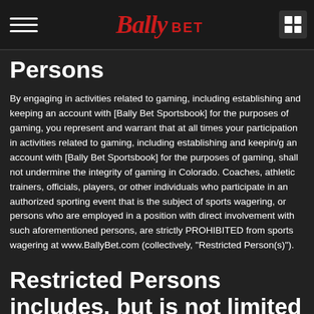Bally Bet
Persons
By engaging in activities related to gaming, including establishing and keeping an account with [Bally Bet Sportsbook] for the purposes of gaming, you represent and warrant that at all times your participation in activities related to gaming, including establishing and keepin/g an account with [Bally Bet Sportsbook] for the purposes of gaming, shall not undermine the integrity of gaming in Colorado. Coaches, athletic trainers, officials, players, or other individuals who participate in an authorized sporting event that is the subject of sports wagering, or persons who are employed in a position with direct involvement with such aforementioned persons, are strictly PROHIBITED from sports wagering at www.BallyBet.com (collectively, "Restricted Person(s)").
Restricted Persons includes, but is not limited